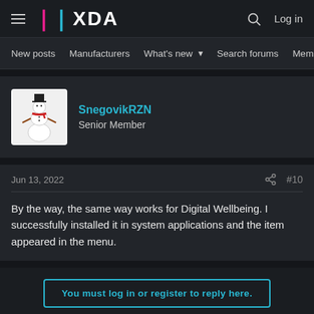XDA Forums navigation bar with logo, search, and login
New posts  Manufacturers  What's new  Search forums  Members  >
[Figure (photo): Snowman avatar image for user SnegovikRZN]
SnegovikRZN
Senior Member
Jun 13, 2022  #10
By the way, the same way works for Digital Wellbeing. I successfully installed it in system applications and the item appeared in the menu.
You must log in or register to reply here.
Share: